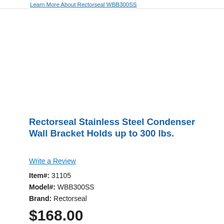Learn More About Rectorseal WBB300SS
[Figure (photo): Product image area for Rectorseal Stainless Steel Condenser Wall Bracket (WBB300SS) - blank/white image placeholder]
Rectorseal Stainless Steel Condenser Wall Bracket Holds up to 300 lbs.
Write a Review
Item#: 31105
Model#: WBB300SS
Brand: Rectorseal
$168.00